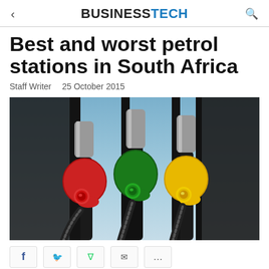BUSINESSTECH
Best and worst petrol stations in South Africa
Staff Writer   25 October 2015
[Figure (photo): Three colorful fuel pump nozzles — red, green, and yellow — hanging on a fuel station dispenser against a blurred blue background.]